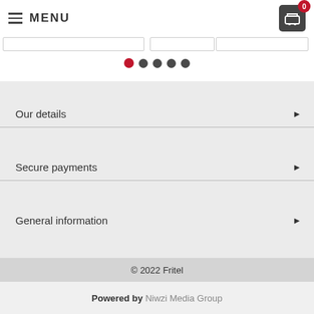MENU
[Figure (screenshot): Pagination dots row: one red filled circle and four dark grey filled circles]
Our details ▶
Secure payments ▶
General information ▶
© 2022 Fritel
Powered by Niwzi Media Group